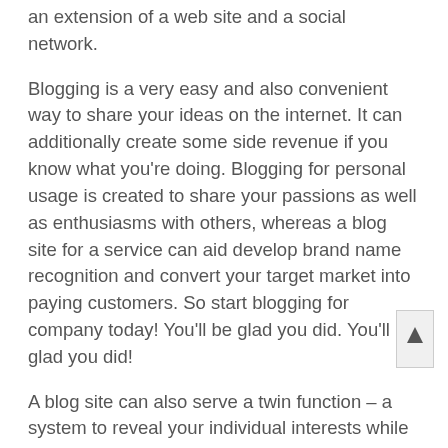an extension of a web site and a social network.
Blogging is a very easy and also convenient way to share your ideas on the internet. It can additionally create some side revenue if you know what you're doing. Blogging for personal usage is created to share your passions as well as enthusiasms with others, whereas a blog site for a service can aid develop brand name recognition and convert your target market into paying customers. So start blogging for company today! You'll be glad you did. You'll be glad you did!
A blog site can also serve a twin function – a system to reveal your individual interests while earning money. A blog site can influence people, enlighten them, and influence their acquiring decisions. If done well, it can even help you develop your know-how and land consulting deals. Regardless of the benefits of